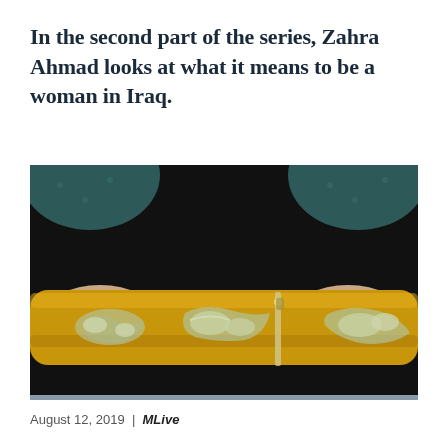In the second part of the series, Zahra Ahmad looks at what it means to be a woman in Iraq.
[Figure (photo): Two hands holding a decorative golden sword or scabbard with ornate silver Arabic calligraphy inscriptions, against a dark black background. The person is wearing a dark teal patterned garment.]
August 12, 2019 | MLive